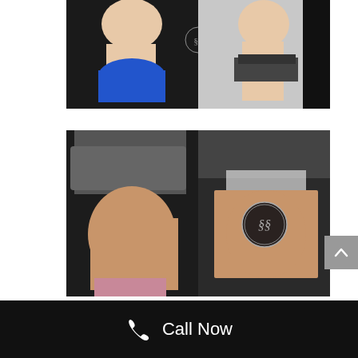[Figure (photo): Before and after side-by-side comparison photos of torso/abdomen area. Left image shows person in blue clothing, right image shows slimmer profile in dark clothing. Medical spa watermark logo visible.]
[Figure (photo): Before and after side-by-side comparison photos of torso/abdomen area from a different angle. Left image shows fuller midsection with gray clothing, right image shows flatter stomach. Medical spa watermark logo visible.]
Call Now